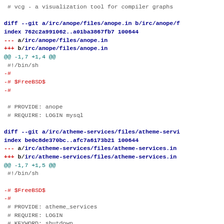# vcg - a visualization tool for compiler graphs
diff --git a/irc/anope/files/anope.in b/irc/anope/f
index 762c2a991062..a01ba3867fb7 100644
--- a/irc/anope/files/anope.in
+++ b/irc/anope/files/anope.in
@@ -1,7 +1,4 @@
 #!/bin/sh
 -#
 -# $FreeBSD$
 -#
 
 # PROVIDE: anope
 # REQUIRE: LOGIN mysql
diff --git a/irc/atheme-services/files/atheme-servi
index be0c8de370bc..afc7a6173b21 100644
--- a/irc/atheme-services/files/atheme-services.in
+++ b/irc/atheme-services/files/atheme-services.in
@@ -1,7 +1,5 @@
 #!/bin/sh

 -# $FreeBSD$
 -#
 # PROVIDE: atheme_services
 # REQUIRE: LOGIN
 # KEYWORD: shutdown
diff --git a/irc/bitlbee/files/bitlbee.in b/irc/bit
index a2f138e2ae85..7a8c8c33e6cb 100644